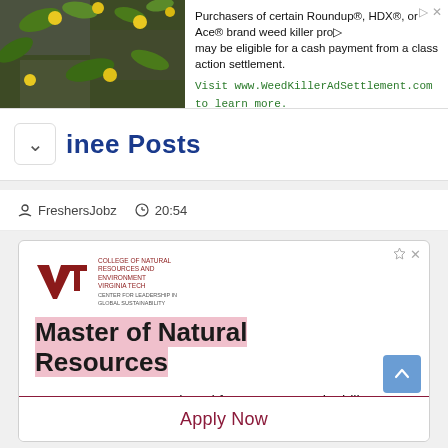[Figure (screenshot): Top advertisement banner: Roundup/HDX/Ace weed killer class action settlement ad with plant image on left and text on right]
inee Posts
FreshersJobz  20:54
[Figure (screenshot): Virginia Tech College of Natural Resources and Environment advertisement for Master of Natural Resources degree program. Shows VT logo, degree title, tagline 'Degree Programs Designed for Future Sustainability Leaders.', 'Virginia Tech', and Apply Now button.]